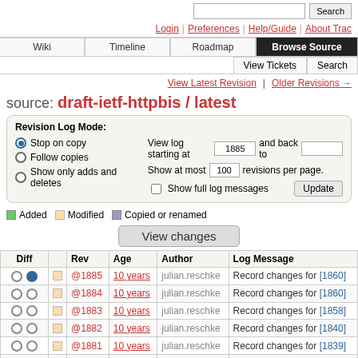Search | Login | Preferences | Help/Guide | About Trac
Wiki | Timeline | Roadmap | Browse Source | View Tickets | Search
View Latest Revision | Older Revisions →
source: draft-ietf-httpbis / latest
Revision Log Mode: Stop on copy / Follow copies / Show only adds and deletes. View log starting at 1885 and back to [blank]. Show at most 100 revisions per page. Show full log messages. Update
Added   Modified   Copied or renamed
View changes
| Diff |  | Rev | Age | Author | Log Message |
| --- | --- | --- | --- | --- | --- |
| ○ ● | □ | @1885 | 10 years | julian.reschke | Record changes for [1860] |
| ○ ○ | □ | @1884 | 10 years | julian.reschke | Record changes for [1860] |
| ○ ○ | □ | @1883 | 10 years | julian.reschke | Record changes for [1858] |
| ○ ○ | □ | @1882 | 10 years | julian.reschke | Record changes for [1840] |
| ○ ○ | □ | @1881 | 10 years | julian.reschke | Record changes for [1839] |
| ○ ○ | □ | @1880 | 10 years | julian.reschke | … |